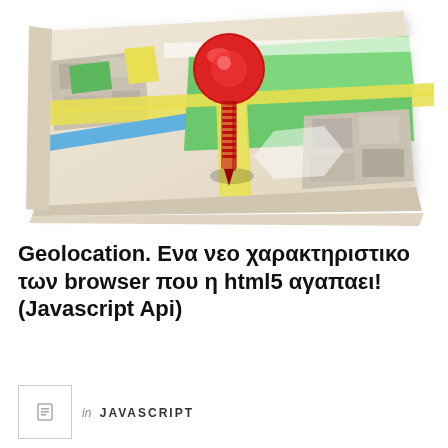[Figure (illustration): A 3D illustration of a folded street map with green parks, yellow roads, blue river, gray city blocks, and a large red location pin/pushpin stuck in the center of the map]
Geolocation. Ενα νεο χαρακτηριστικο των browser που η html5 αγαπαει! (Javascript Api)
in JAVASCRIPT